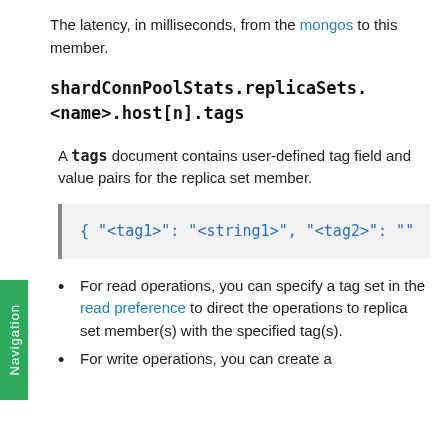The latency, in milliseconds, from the mongos to this member.
shardConnPoolStats.replicaSets.<name>.host[n].tags
A tags document contains user-defined tag field and value pairs for the replica set member.
[Figure (screenshot): Code block showing: { "<tag1>": "<string1>", "<tag2>": "]
For read operations, you can specify a tag set in the read preference to direct the operations to replica set member(s) with the specified tag(s).
For write operations, you can create a